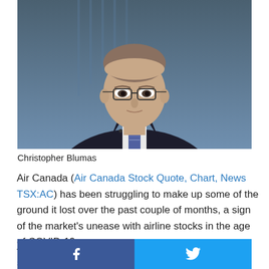[Figure (photo): Man in dark suit and glasses seated in TV studio setting, wearing a blue plaid tie]
Christopher Blumas
Air Canada (Air Canada Stock Quote, Chart, News TSX:AC) has been struggling to make up some of the ground it lost over the past couple of months, a sign of the market’s unease with airline stocks in the age of COVID-19.
And while AC m... should take a b...